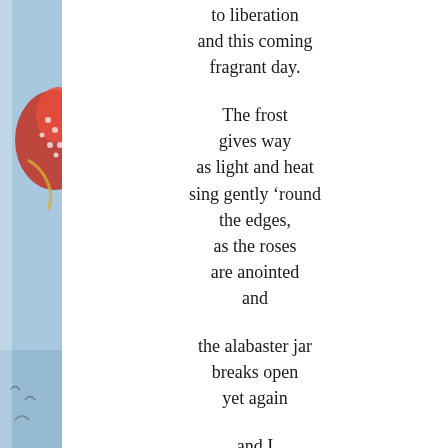[Figure (photo): Left edge photo showing a red and white decorative object (possibly a flower or ornament) against a blue sky, with some birds or shapes at the bottom. Only a narrow strip (~62px wide) is visible on the left side of the page.]
to liberation
and this coming
fragrant day.

The frost
gives way
as light and heat
sing gently ‘round
the edges,
as the roses
are anointed
and

the alabaster jar
breaks open
yet again

and I
pour